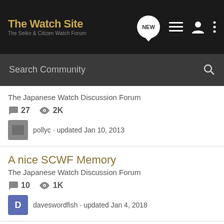The Watch Site — The Seiko & Citizen Watch Forum
Search Community
The Japanese Watch Discussion Forum
27 comments · 2K views · pollyc · updated Jan 10, 2013
A nice SCWF Memory
The Japanese Watch Discussion Forum
10 comments · 1K views · daveswordfish · updated Jan 4, 2018
My Seiko restored!
The Japanese Watch Discussion Forum